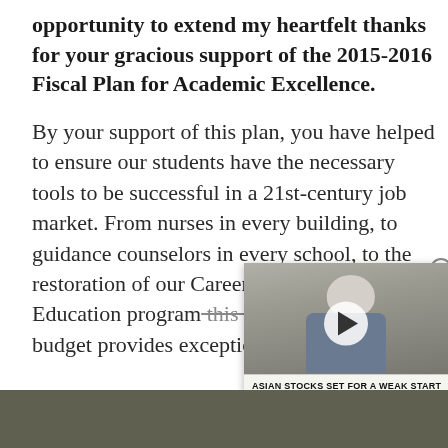opportunity to extend my heartfelt thanks for your gracious support of the 2015-2016 Fiscal Plan for Academic Excellence.
By your support of this plan, you have helped to ensure our students have the necessary tools to be successful in a 21st-century job market. From nurses in every building, to guidance counselors in every school, to the restoration of our Career and Technical Education program this budget provides exceptional opportunities fo
[Figure (screenshot): Embedded video player showing a man with gray/white hair in a blue shirt seated, with a white play button overlay. A ticker bar at the bottom reads 'ASIAN STOCKS SET FOR A WEAK START'. A close (X) button appears in the top-right corner of the video.]